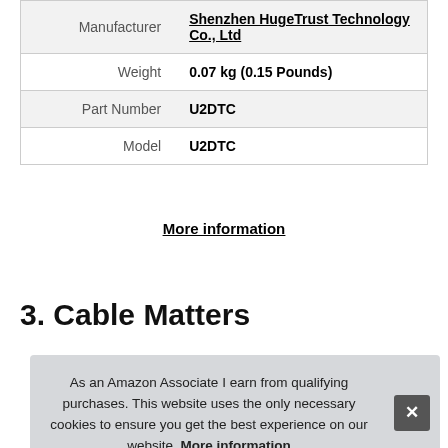|  |  |
| --- | --- |
| Manufacturer | Shenzhen HugeTrust Technology Co., Ltd |
| Weight | 0.07 kg (0.15 Pounds) |
| Part Number | U2DTC |
| Model | U2DTC |
More information
3. Cable Matters
As an Amazon Associate I earn from qualifying purchases. This website uses the only necessary cookies to ensure you get the best experience on our website. More information